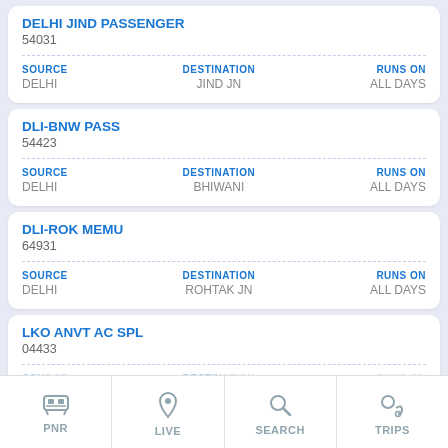DELHI JIND PASSENGER
54031
| SOURCE | DESTINATION | RUNS ON |
| --- | --- | --- |
| DELHI | JIND JN | ALL DAYS |
DLI-BNW PASS
54423
| SOURCE | DESTINATION | RUNS ON |
| --- | --- | --- |
| DELHI | BHIWANI | ALL DAYS |
DLI-ROK MEMU
64931
| SOURCE | DESTINATION | RUNS ON |
| --- | --- | --- |
| DELHI | ROHTAK JN | ALL DAYS |
LKO ANVT AC SPL
04433
PNR  LIVE  SEARCH  TRIPS